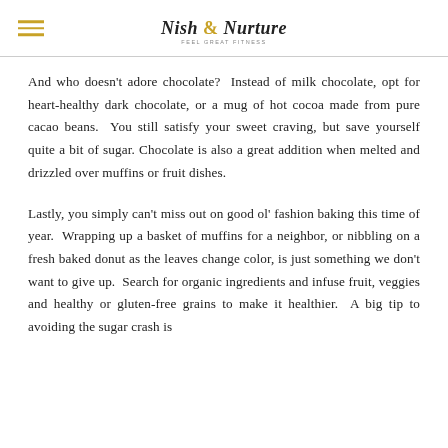Nish & Nurture
And who doesn't adore chocolate?  Instead of milk chocolate, opt for heart-healthy dark chocolate, or a mug of hot cocoa made from pure cacao beans.  You still satisfy your sweet craving, but save yourself quite a bit of sugar.  Chocolate is also a great addition when melted and drizzled over muffins or fruit dishes.
Lastly, you simply can't miss out on good ol' fashion baking this time of year.  Wrapping up a basket of muffins for a neighbor, or nibbling on a fresh baked donut as the leaves change color, is just something we don't want to give up.  Search for organic ingredients and infuse fruit, veggies and healthy or gluten-free grains to make it healthier.  A big tip to avoiding the sugar crash is